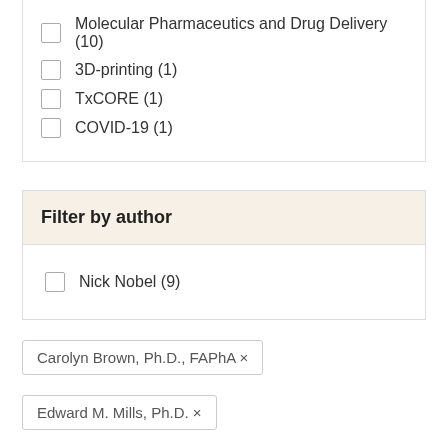Molecular Pharmaceutics and Drug Delivery (10)
3D-printing (1)
TxCORE (1)
COVID-19 (1)
Filter by author
Nick Nobel (9)
Carolyn Brown, Ph.D., FAPhA ×
Edward M. Mills, Ph.D. ×
Grace Lee, Pharm.D., Ph.D., BCPS ×